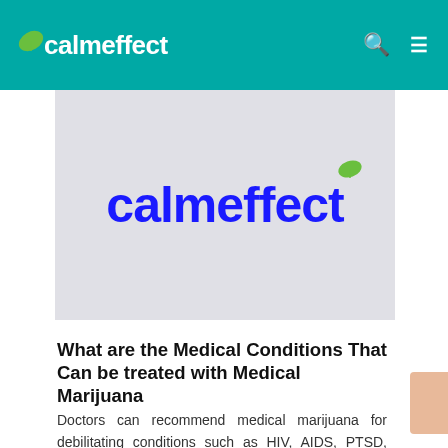calmeffect
[Figure (logo): calmeffect logo with blue text and green leaf on light gray background]
What are the Medical Conditions That Can be treated with Medical Marijuana
Doctors can recommend medical marijuana for debilitating conditions such as HIV, AIDS, PTSD, Crohn's disease, Parkinson's, cancer, glaucoma, and epilepsy.  Every legal state has its own set of eligible conditions.  CLICK HERE TO FIND THE ELIGIBLE CONDITIONS IN YOUR STATE.